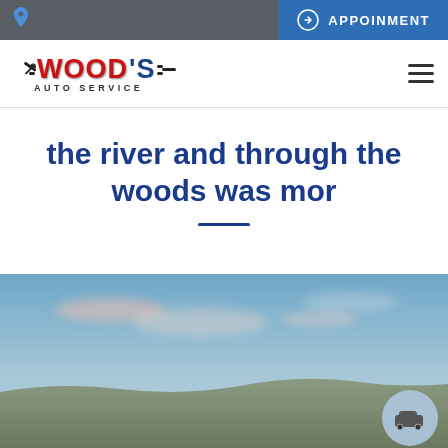APPOINMENT
[Figure (logo): Wood's Auto Service logo with wrench icons and red/blue text]
the river and through the woods was mor
[Figure (photo): Landscape photo with sky, clouds and rolling terrain horizon, with a car icon circle button in the bottom right corner]